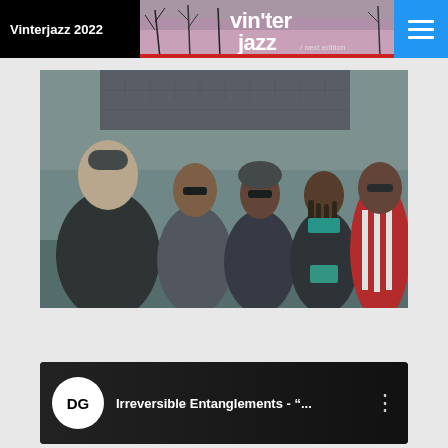Vinterjazz 2022
[Figure (photo): Five musicians posing outdoors in front of a grey wall and brick rooftop. The group includes a tall white man in a dark jacket and beanie on the left, three Black men in the center wearing sunglasses and casual clothing, and one Black man in a red-and-white striped jacket on the right. The image has a cool teal/grey tone.]
[Figure (screenshot): Video thumbnail showing a dark background with a circular DG logo (white circle with black DG letters) and the text 'Irreversible Entanglements - "...' with a three-dot menu icon on the right.]